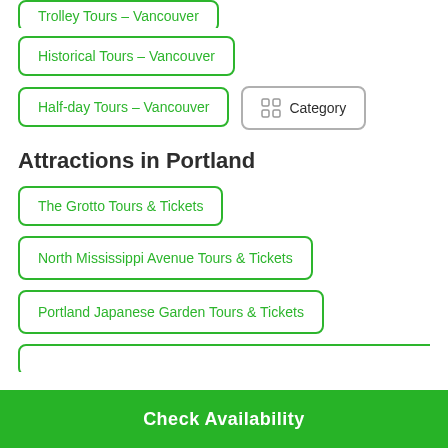Historical Tours - Vancouver
Half-day Tours - Vancouver
Category
Attractions in Portland
The Grotto Tours & Tickets
North Mississippi Avenue Tours & Tickets
Portland Japanese Garden Tours & Tickets
(partial, cut off)
Check Availability